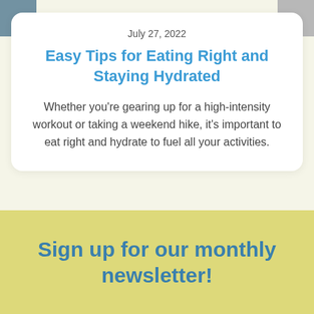[Figure (photo): Partial photo visible at top-left corner]
[Figure (photo): Partial photo visible at top-right corner]
July 27, 2022
Easy Tips for Eating Right and Staying Hydrated
Whether you're gearing up for a high-intensity workout or taking a weekend hike, it's important to eat right and hydrate to fuel all your activities.
Sign up for our monthly newsletter!